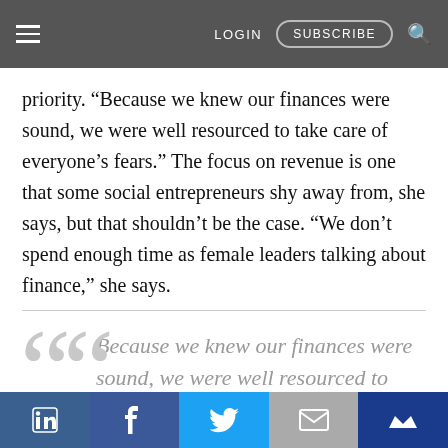LOGIN  SUBSCRIBE
priority. “Because we knew our finances were sound, we were well resourced to take care of everyone’s fears.” The focus on revenue is one that some social entrepreneurs shy away from, she says, but that shouldn’t be the case. “We don’t spend enough time as female leaders talking about finance,” she says.
“Because we knew our finances were sound, we were well resourced to take care of everyone’s fears.
LinkedIn | Facebook | Twitter | Email | Bookmark